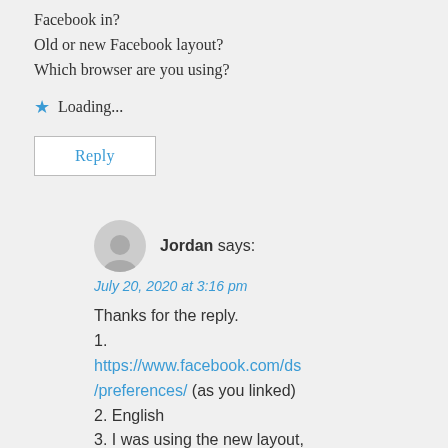Facebook in?
Old or new Facebook layout?
Which browser are you using?
★ Loading...
Reply
Jordan says:
July 20, 2020 at 3:16 pm
Thanks for the reply.
1.
https://www.facebook.com/ds/preferences/ (as you linked)
2. English
3. I was using the new layout, however when you load settings pages it always says